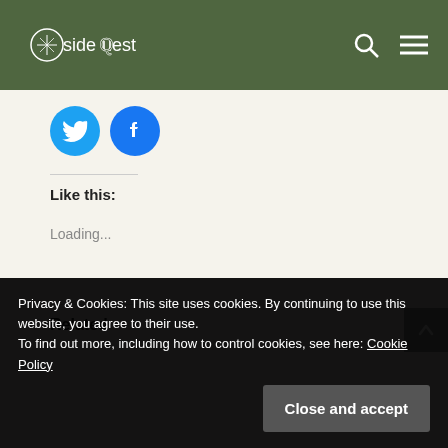sideQuest
[Figure (logo): SideQuest logo with compass/clock icon on green background header bar]
[Figure (illustration): Twitter and Facebook social share circular buttons in blue]
Like this:
Loading...
Related
Privacy & Cookies: This site uses cookies. By continuing to use this website, you agree to their use.
To find out more, including how to control cookies, see here: Cookie Policy
Close and accept